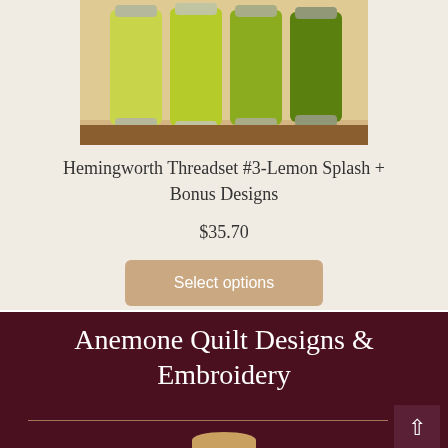[Figure (photo): Four spools of green embroidery thread in varying shades from yellow-green to dark olive green, arranged side by side on a wooden surface]
Hemingworth Threadset #3-Lemon Splash + Bonus Designs
$35.70
Select options
Anemone Quilt Designs & Embroidery